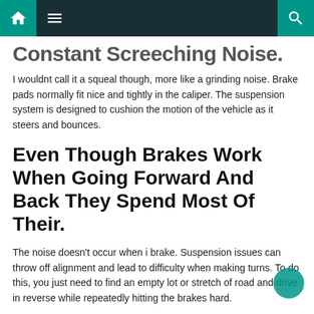Navigation bar with home, menu, and search icons
Constant Screeching Noise.
I wouldnt call it a squeal though, more like a grinding noise. Brake pads normally fit nice and tightly in the caliper. The suspension system is designed to cushion the motion of the vehicle as it steers and bounces.
Even Though Brakes Work When Going Forward And Back They Spend Most Of Their.
The noise doesn't occur when i brake. Suspension issues can throw off alignment and lead to difficulty when making turns. To do this, you just need to find an empty lot or stretch of road and drive in reverse while repeatedly hitting the brakes hard.